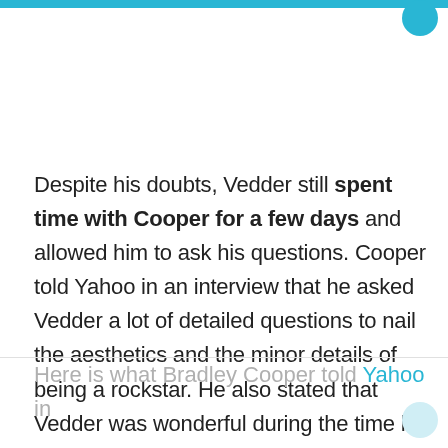Despite his doubts, Vedder still spent time with Cooper for a few days and allowed him to ask his questions. Cooper told Yahoo in an interview that he asked Vedder a lot of detailed questions to nail the aesthetics and the minor details of being a rockstar. He also stated that Vedder was wonderful during the time he spent with him.
Here is what Bradley Cooper told Yahoo in